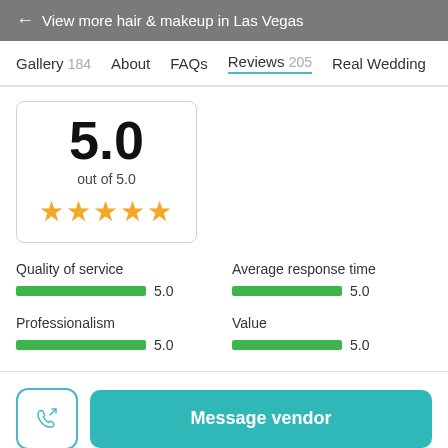← View more hair & makeup in Las Vegas
Gallery 184   About   FAQs   Reviews 205   Real Wedding
5.0
out of 5.0
★★★★★
Quality of service
5.0
Average response time
5.0
Professionalism
5.0
Value
5.0
Message vendor